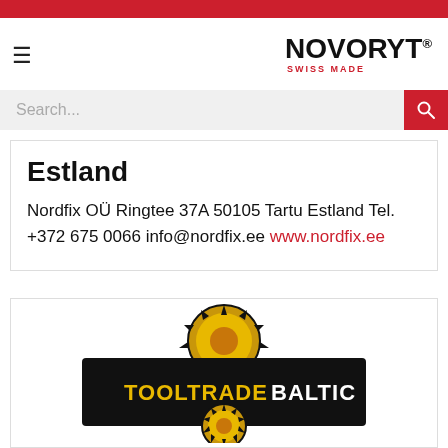NOVORYT® SWISS MADE
Estland
Nordfix OÜ Ringtee 37A 50105 Tartu Estland Tel. +372 675 0066 info@nordfix.ee www.nordfix.ee
[Figure (logo): TOOLTRADE BALTIC logo — black rectangular badge with gold circular saw blade motif, gold and yellow text reading TOOLTRADE BALTIC on black background]